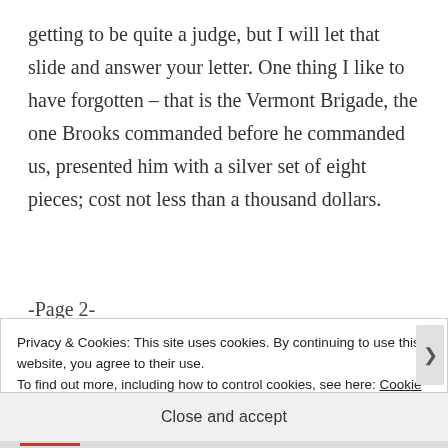getting to be quite a judge, but I will let that slide and answer your letter. One thing I like to have forgotten – that is the Vermont Brigade, the one Brooks commanded before he commanded us, presented him with a silver set of eight pieces; cost not less than a thousand dollars.
-Page 2-
Privacy & Cookies: This site uses cookies. By continuing to use this website, you agree to their use. To find out more, including how to control cookies, see here: Cookie Policy
Close and accept